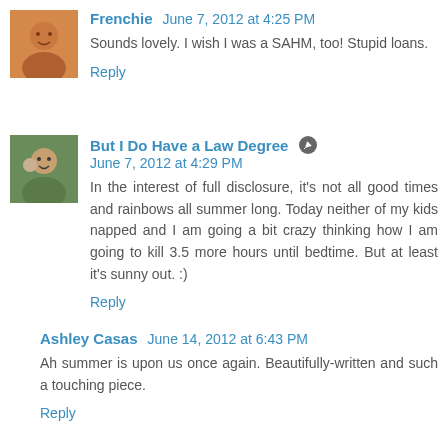Frenchie  June 7, 2012 at 4:25 PM
Sounds lovely. I wish I was a SAHM, too! Stupid loans.
Reply
But I Do Have a Law Degree  June 7, 2012 at 4:29 PM
In the interest of full disclosure, it's not all good times and rainbows all summer long. Today neither of my kids napped and I am going a bit crazy thinking how I am going to kill 3.5 more hours until bedtime. But at least it's sunny out. :)
Reply
Ashley Casas  June 14, 2012 at 6:43 PM
Ah summer is upon us once again. Beautifully-written and such a touching piece.
Reply